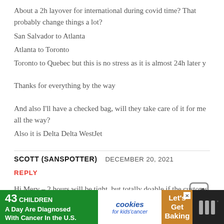About a 2h layover for international during covid time? That probably change things a lot?
San Salvador to Atlanta
Atlanta to Toronto
Toronto to Quebec but this is no stress as it is almost 24h later y

Thanks for everything by the way

And also I’ll have a checked bag, will they take care of it for me all the way?
Also it is Delta Delta WestJet
SCOTT (SANSPOTTER)   DECEMBER 20, 2021
REPLY
Hi Merv – 2 hours will be tight, but totally doable if the customs and...